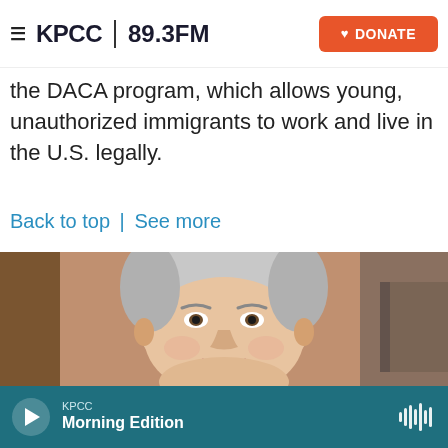KPCC 89.3FM | DONATE
the DACA program, which allows young, unauthorized immigrants to work and live in the U.S. legally.
Back to top | See more
[Figure (photo): Headshot of a middle-aged man with grey hair, smiling, wearing a white shirt, with a blurred indoor background.]
KPCC Morning Edition